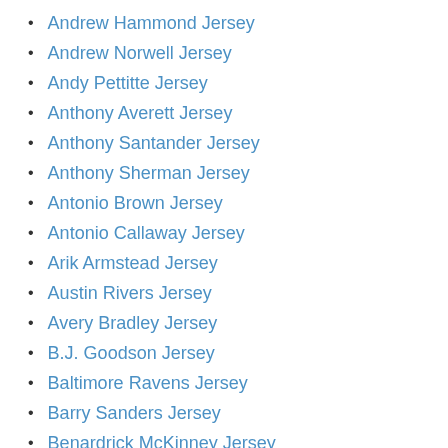Andrew Hammond Jersey
Andrew Norwell Jersey
Andy Pettitte Jersey
Anthony Averett Jersey
Anthony Santander Jersey
Anthony Sherman Jersey
Antonio Brown Jersey
Antonio Callaway Jersey
Arik Armstead Jersey
Austin Rivers Jersey
Avery Bradley Jersey
B.J. Goodson Jersey
Baltimore Ravens Jersey
Barry Sanders Jersey
Benardrick McKinney Jersey
Billy McKinney Jersey
Blake Bortles Jersey
Blake Wheeler Jersey
Blidi Wreh-Wilson Jersey
Bobby Hull Jersey